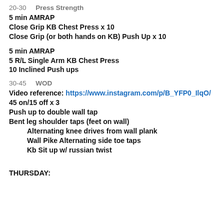20-30    Press Strength
5 min AMRAP
Close Grip KB Chest Press x 10
Close Grip (or both hands on KB) Push Up x 10
5 min AMRAP
5 R/L Single Arm KB Chest Press
10 Inclined Push ups
30-45    WOD
Video reference: https://www.instagram.com/p/B_YFP0_IlqO/
45 on/15 off x 3
Push up to double wall tap
Bent leg shoulder taps (feet on wall)
Alternating knee drives from wall plank
Wall Pike Alternating side toe taps
Kb Sit up w/ russian twist
THURSDAY: